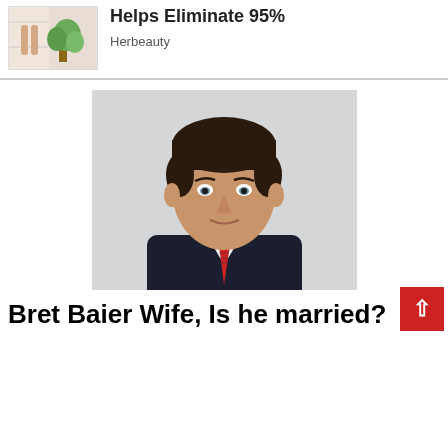[Figure (photo): Ad thumbnail showing a woman's legs and a plant, Herbeauty advertisement]
Helps Eliminate 95%
Herbeauty
[Figure (photo): Professional headshot portrait of Bret Baier, a man in a dark suit with a red striped tie against a light gray background]
Bret Baier photo
Bret Baier Wife, Is he married?